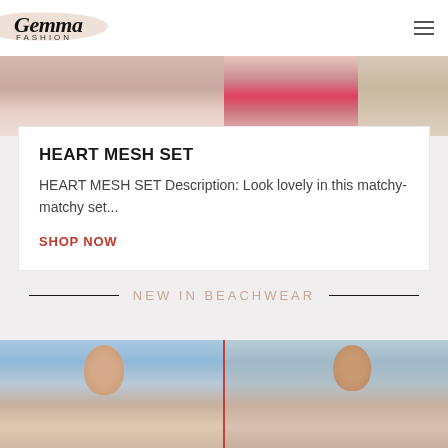Gemma FASHION
[Figure (photo): Fashion product photo strip showing models in beachwear/clothing against pink and neutral backgrounds]
HEART MESH SET
HEART MESH SET Description: Look lovely in this matchy-matchy set...
SHOP NOW
NEW IN BEACHWEAR
[Figure (photo): Two female models wearing colorful halter-neck bikinis/beachwear, split-panel photo, one facing forward smiling, one facing away showing back]